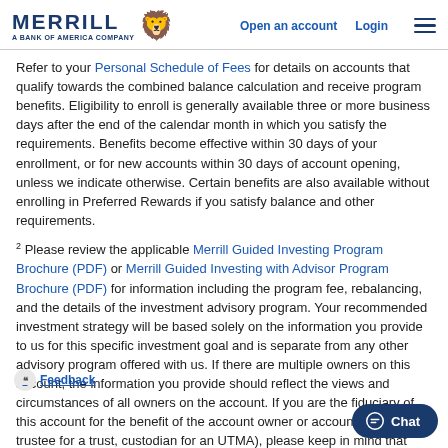Merrill – A Bank of America Company | Open an account | Login
Refer to your Personal Schedule of Fees for details on accounts that qualify towards the combined balance calculation and receive program benefits. Eligibility to enroll is generally available three or more business days after the end of the calendar month in which you satisfy the requirements. Benefits become effective within 30 days of your enrollment, or for new accounts within 30 days of account opening, unless we indicate otherwise. Certain benefits are also available without enrolling in Preferred Rewards if you satisfy balance and other requirements.
2 Please review the applicable Merrill Guided Investing Program Brochure (PDF) or Merrill Guided Investing with Advisor Program Brochure (PDF) for information including the program fee, rebalancing, and the details of the investment advisory program. Your recommended investment strategy will be based solely on the information you provide to us for this specific investment goal and is separate from any other advisory program offered with us. If there are multiple owners on this account, the information you provide should reflect the views and circumstances of all owners on the account. If you are the fiduciary of this account for the benefit of the account owner or account holder (e.g., trustee for a trust, custodian for an UTMA), please keep in mind that these